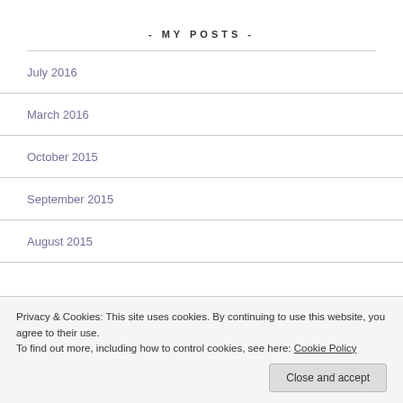- MY POSTS -
July 2016
March 2016
October 2015
September 2015
August 2015
Privacy & Cookies: This site uses cookies. By continuing to use this website, you agree to their use.
To find out more, including how to control cookies, see here: Cookie Policy
Close and accept